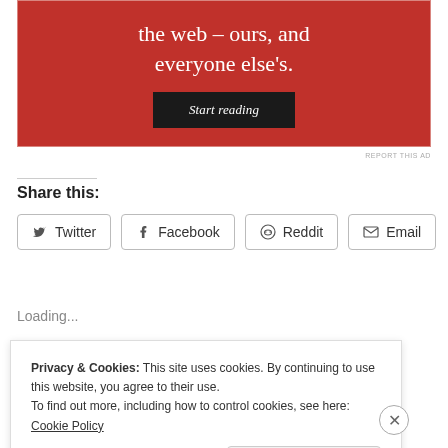[Figure (other): Red advertisement banner with white serif text reading 'the web – ours, and everyone else's.' and a dark 'Start reading' button]
REPORT THIS AD
Share this:
Twitter  Facebook  Reddit  Email
Loading...
Privacy & Cookies: This site uses cookies. By continuing to use this website, you agree to their use.
To find out more, including how to control cookies, see here: Cookie Policy